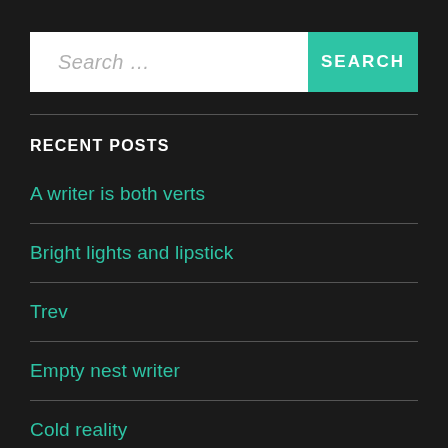[Figure (screenshot): Search bar with text input placeholder 'Search ...' and a teal SEARCH button]
RECENT POSTS
A writer is both verts
Bright lights and lipstick
Trev
Empty nest writer
Cold reality